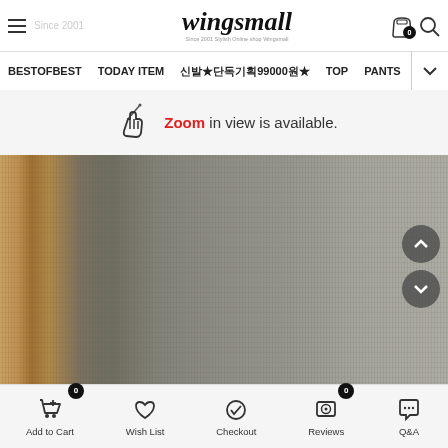[Figure (screenshot): Wingsmall online shopping website screenshot showing header with logo, navigation bar, zoom notice, product fabric image, and bottom action bar with Add to Cart, Wish List, Checkout, Reviews, Q&A buttons.]